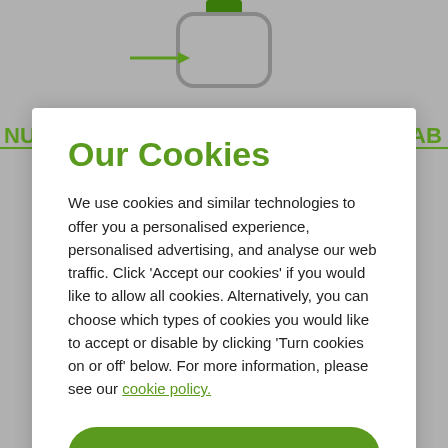[Figure (screenshot): Background website screenshot showing a grey page with green navigation elements and a diagram with arrows and rounded rectangles, partially visible behind a cookie consent modal overlay.]
Our Cookies
We use cookies and similar technologies to offer you a personalised experience, personalised advertising, and analyse our web traffic. Click 'Accept our cookies' if you would like to allow all cookies. Alternatively, you can choose which types of cookies you would like to accept or disable by clicking 'Turn cookies on or off' below. For more information, please see our cookie policy.
Accept our cookies
Turn cookies on or off